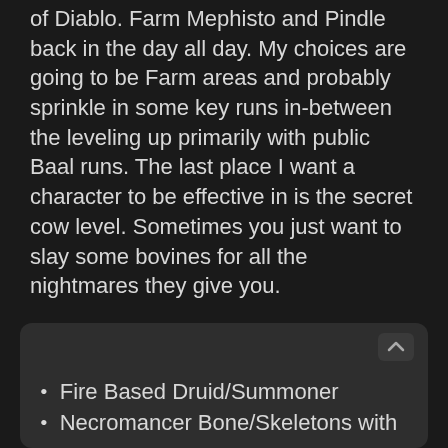of Diablo.  Farm Mephisto and Pindle back in the day all day.  My choices are going to be Farm areas and probably sprinkle in some key runs in-between the leveling up primarily with public Baal runs.  The last place I want a character to be effective in is the secret cow level.  Sometimes you just want to slay some bovines for all the nightmares they give you.
After looking over the areas I wanted to run.  I also do not want to do a standard character build.  Lastly, I wanted a build that got buffed with 2.4 patch.  I'm left with the following options that would fit my playstyle:
Fire Based Druid/Summoner
(cut off)